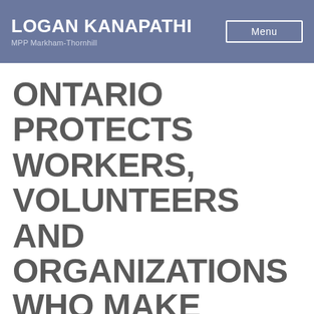LOGAN KANAPATHI
MPP Markham-Thornhill
ONTARIO PROTECTS WORKERS, VOLUNTEERS AND ORGANIZATIONS WHO MAKE HONEST EFFORTS TO FOLLOW COVID-19 PUBLIC HEALTH GUIDELINES